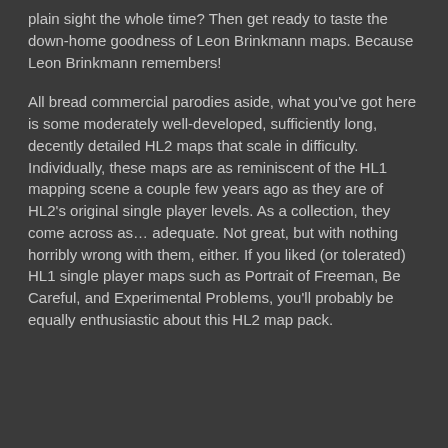plain sight the whole time? Then get ready to taste the down-home goodness of Leon Brinkmann maps. Because Leon Brinkmann remembers!
All bread commercial parodies aside, what you've got here is some moderately well-developed, sufficiently long, decently detailed HL2 maps that scale in difficulty. Individually, these maps are as reminiscent of the HL1 mapping scene a couple few years ago as they are of HL2's original single player levels. As a collection, they come across as… adequate. Not great, but with nothing horribly wrong with them, either. If you liked (or tolerated) HL1 single player maps such as Portrait of Freeman, Be Careful, and Experimental Problems, you'll probably be equally enthusiastic about this HL2 map pack.